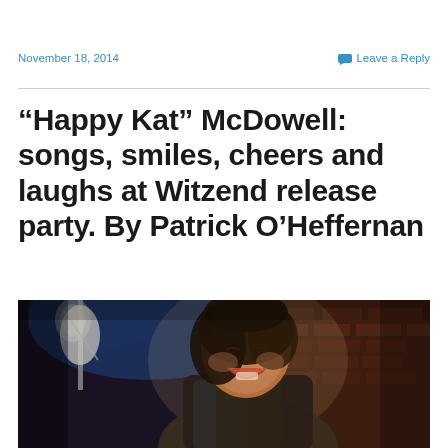November 18, 2014
Leave a Reply
“Happy Kat” McDowell: songs, smiles, cheers and laughs at Witzend release party. By Patrick O’Heffernan
[Figure (photo): A smiling woman with dark hair performing on stage at a dimly lit venue with brick walls visible in the background. A microphone stand is visible to her left.]